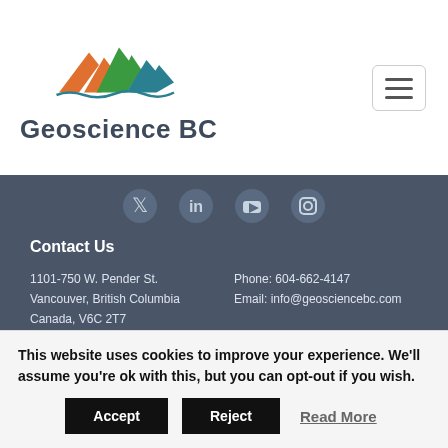[Figure (logo): Geoscience BC logo with colorful mountain peaks (orange, green, teal) above text 'Geoscience BC']
[Figure (illustration): Social media icons: Twitter, LinkedIn, YouTube, Instagram on dark grey background]
Contact Us
1101-750 W. Pender St.
Vancouver, British Columbia
Canada, V6C 2T7
Phone: 604-662-4147
Email: info@geosciencebc.com
Code of Conduct and Ethics Guidelines
Privacy Policy
This website uses cookies to improve your experience. We'll assume you're ok with this, but you can opt-out if you wish.
Accept   Reject   Read More